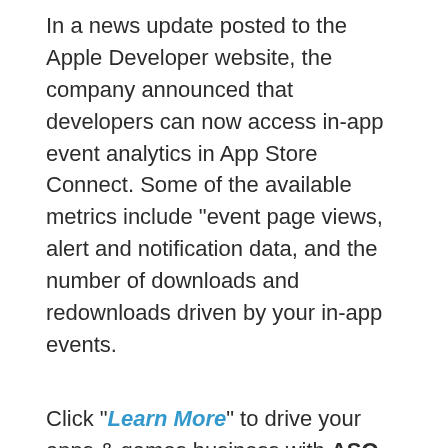In a news update posted to the Apple Developer website, the company announced that developers can now access in-app event analytics in App Store Connect. Some of the available metrics include "event page views, alert and notification data, and the number of downloads and redownloads driven by your in-app events.
Click "Learn More" to drive your apps & games business with ASO World app promotion service now.
In-app events to get featured
In-app events affect mobile app growth across all